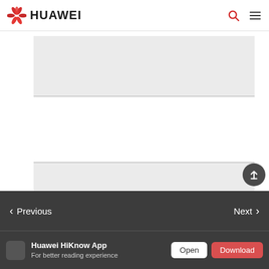HUAWEI
[Figure (screenshot): Gray placeholder image block (top content area)]
[Figure (screenshot): Gray placeholder image block (bottom content area)]
Previous   Next
Huawei HiKnow App
For better reading experience
Open
Download